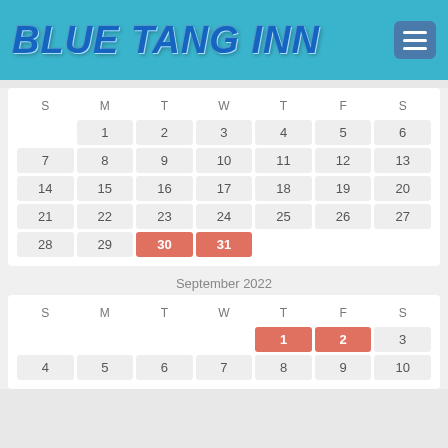Blue Tang Inn
| S | M | T | W | T | F | S |
| --- | --- | --- | --- | --- | --- | --- |
|  | 1 | 2 | 3 | 4 | 5 | 6 |
| 7 | 8 | 9 | 10 | 11 | 12 | 13 |
| 14 | 15 | 16 | 17 | 18 | 19 | 20 |
| 21 | 22 | 23 | 24 | 25 | 26 | 27 |
| 28 | 29 | 30* | 31* |  |  |  |
September 2022
| S | M | T | W | T | F | S |
| --- | --- | --- | --- | --- | --- | --- |
|  |  |  |  | 1* | 2* | 3 |
| 4 | 5 | 6 | 7 | 8 | 9 | 10 |